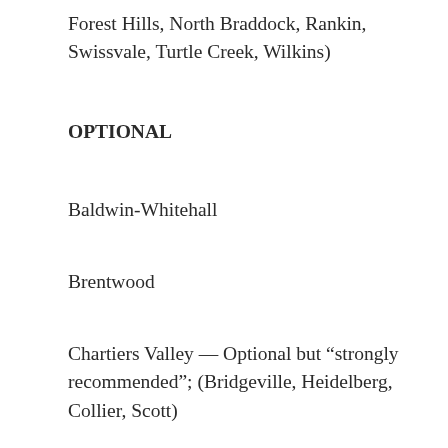Forest Hills, North Braddock, Rankin, Swissvale, Turtle Creek, Wilkins)
OPTIONAL
Baldwin-Whitehall
Brentwood
Chartiers Valley — Optional but “strongly recommended”; (Bridgeville, Heidelberg, Collier, Scott)